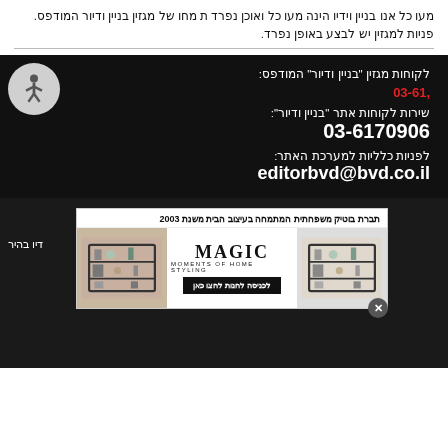מעו כל אנו בניין וידיו הינה מעו כל ואוכן נפרד ת מחו של מגזין בניין ודיור המודפס. פניות למגזין יש לבצע באופן נפרד.
לקוחות מגזין "בניין ודיור" המודפס:
03-61
שירות לקוחות אתר "בניין ודיור":
03-6170906
לפניות כלליות למערכת האתר:
editorbvd@bvd.co.il
[Figure (screenshot): Advertisement for Magic Moments of Home Styling, a boutique family company in home design since 2003, showing shelving unit product images with a call-to-action button.]
דיו בהיר